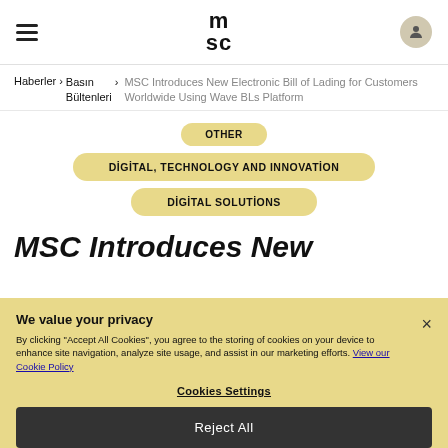MSC (logo) — hamburger menu and user icon
Haberler > Basın Bültenleri > MSC Introduces New Electronic Bill of Lading for Customers Worldwide Using Wave BLs Platform
OTHER
DİGİTAL, TECHNOLOGY AND INNOVATİON
DİGİTAL SOLUTİONS
MSC Introduces New
We value your privacy
By clicking "Accept All Cookies", you agree to the storing of cookies on your device to enhance site navigation, analyze site usage, and assist in our marketing efforts. View our Cookie Policy
Cookies Settings
Reject All